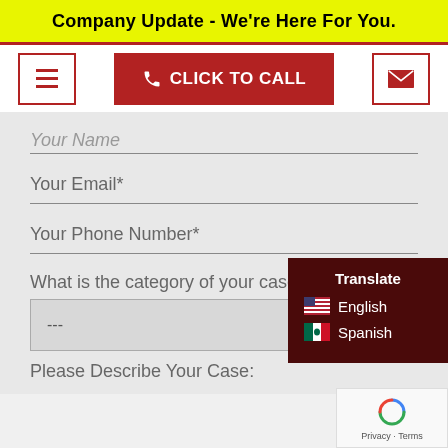Company Update - We're Here For You.
[Figure (screenshot): Navigation bar with hamburger menu icon (red border), red CLICK TO CALL button with phone icon, and red-bordered envelope/email icon]
Your Name
Your Email*
Your Phone Number*
What is the category of your case?
---
Please Describe Your Case:
[Figure (screenshot): Translate popup widget showing title 'Translate' with English (US flag) and Spanish (Mexico flag) language options, on dark maroon background]
[Figure (screenshot): Google reCAPTCHA badge with spinning arrows icon and Privacy - Terms text]